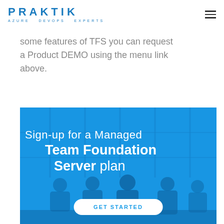PRAKTIK AZURE DEVOPS EXPERTS
some features of TFS you can request a Product DEMO using the menu link above.
[Figure (illustration): Blue banner image with silhouettes of people sitting at a table in a conference room. Overlaid text reads: Sign-up for a Managed Team Foundation Server plan. A GET STARTED button is at the bottom center of the banner.]